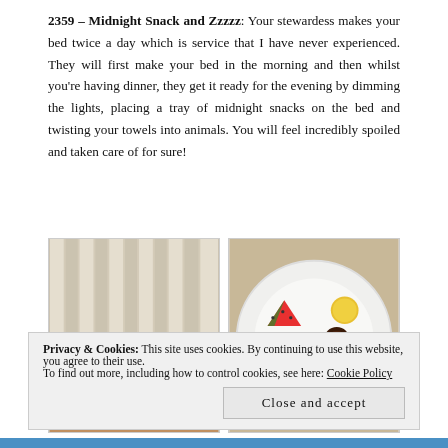2359 – Midnight Snack and Zzzzz: Your stewardess makes your bed twice a day which is service that I have never experienced. They will first make your bed in the morning and then whilst you're having dinner, they get it ready for the evening by dimming the lights, placing a tray of midnight snacks on the bed and twisting your towels into animals. You will feel incredibly spoiled and taken care of for sure!
[Figure (photo): Two side-by-side photos: left shows a hotel bed with towels twisted into an animal shape, with striped bedding and curtains in background; right shows a white plate with colorful midnight snack petit fours and chocolates arranged on it.]
Privacy & Cookies: This site uses cookies. By continuing to use this website, you agree to their use.
To find out more, including how to control cookies, see here: Cookie Policy
Close and accept